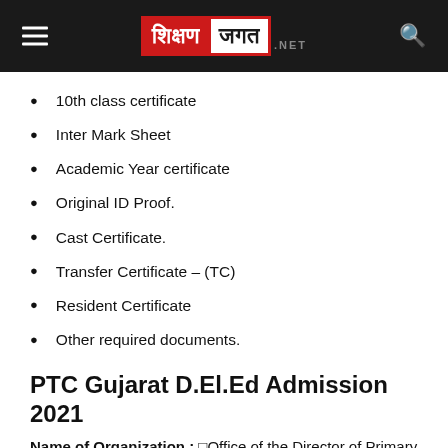ShikshanJagat.NET
10th class certificate
Inter Mark Sheet
Academic Year certificate
Original ID Proof.
Cast Certificate.
Transfer Certificate – (TC)
Resident Certificate
Other required documents.
PTC Gujarat D.El.Ed Admission 2021
Name of Organization : Office of the Director of Primary...